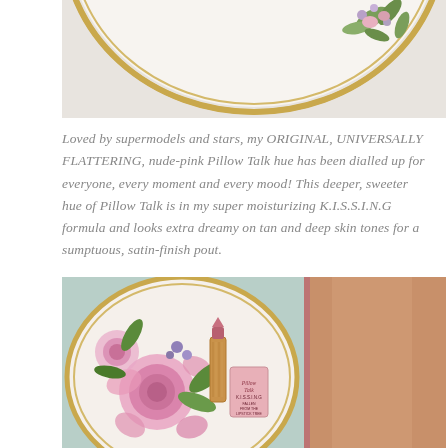[Figure (photo): Top portion of a white ceramic floral plate with gold rim, showing roses and green leaves on a light background, cropped to show just the upper arc of the plate.]
Loved by supermodels and stars, my ORIGINAL, UNIVERSALLY FLATTERING, nude-pink Pillow Talk hue has been dialled up for everyone, every moment and every mood! This deeper, sweeter hue of Pillow Talk is in my super moisturizing K.I.S.S.I.N.G formula and looks extra dreamy on tan and deep skin tones for a sumptuous, satin-finish pout.
[Figure (photo): A white ceramic floral plate with gold rim holding a gold lipstick tube and a small pink box labelled 'Pillow Talk K.I.S.S.I.N.G', with large pink roses and purple flowers on the plate. Right half shows a skin swatch/arm with the lipstick applied.]